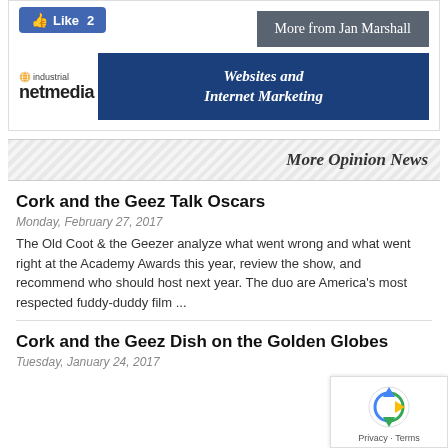[Figure (other): Facebook Like button showing count of 2]
[Figure (other): More from Jan Marshall button (dark gray background)]
[Figure (other): Industrial Netmedia logo with Websites and Internet Marketing banner]
More Opinion News
Cork and the Geez Talk Oscars
Monday, February 27, 2017
The Old Coot & the Geezer analyze what went wrong and what went right at the Academy Awards this year, review the show, and recommend who should host next year. The duo are America's most respected fuddy-duddy film ...
Cork and the Geez Dish on the Golden Globes
Tuesday, January 24, 2017